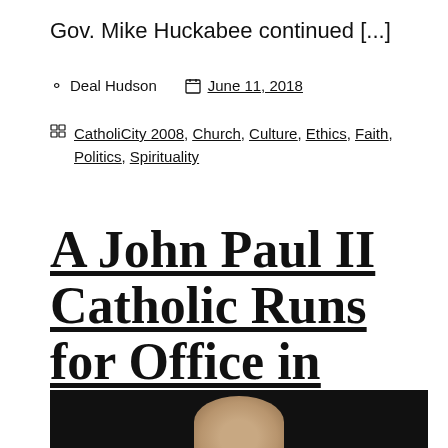Gov. Mike Huckabee continued [...]
Deal Hudson   June 11, 2018
CatholiCity 2008, Church, Culture, Ethics, Faith, Politics, Spirituality
A John Paul II Catholic Runs for Office in Florida
[Figure (photo): Dark background photo showing the top of a person's head, likely a political figure]